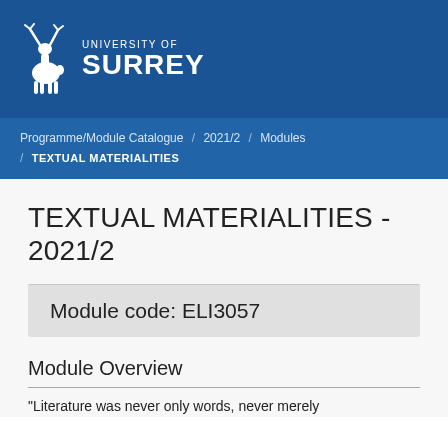UNIVERSITY OF SURREY
Programme/Module Catalogue / 2021/2 / Modules / TEXTUAL MATERIALITIES
TEXTUAL MATERIALITIES - 2021/2
Module code: ELI3057
Module Overview
"Literature was never only words, never merely